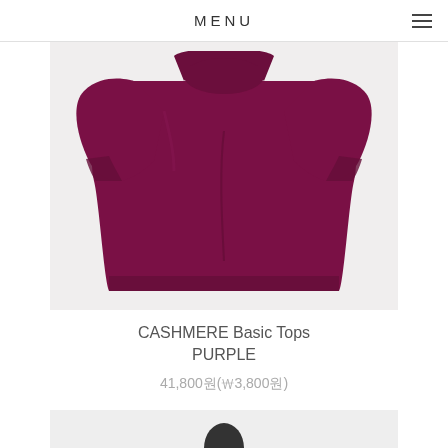MENU
[Figure (photo): A purple cashmere knit sweater laid flat on a light gray background, showing the front and sleeves spread out.]
CASHMERE Basic Tops PURPLE
41,800원(₩3,800원)
[Figure (photo): Partial view of another product photo, cropped at the bottom of the page.]